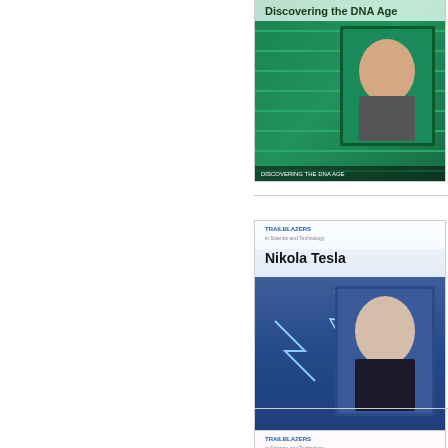[Figure (illustration): Book cover of a Trailblazers in Science and Technology series book (partially visible at top), green themed cover with a scientist photo]
Trailblaze...
Hardcover...
List Price:...
Add to W...
[Figure (illustration): Book cover: Trailblazers in Science and Technology — Nikola Tesla. Blue themed cover with photo of Nikola Tesla and electrical sparks in background.]
Nikola T...
Trailblaze...
Hardcover...
List Price:...
Add to W...
[Figure (illustration): Book cover: Trailblazers in Science and Technology — Rosalind Franklin. Purple/pink themed cover with photo of Rosalind Franklin and DNA helix.]
Rosalin...
Trailblaze...
Hardcover...
List Price:...
Add to W...